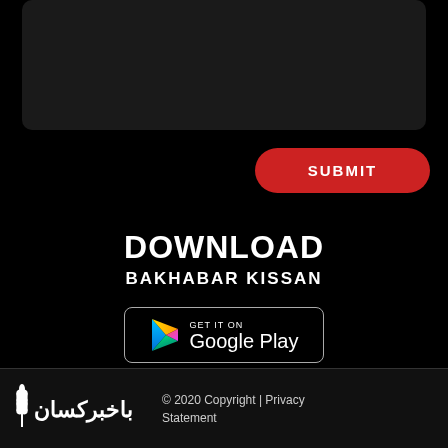[Figure (screenshot): Dark rounded rectangle card/input area, black background]
SUBMIT
DOWNLOAD
BAKHABAR KISSAN
[Figure (logo): Google Play store badge button: GET IT ON Google Play]
[Figure (logo): Bakhabar Kissan logo in white with Urdu script]
© 2020 Copyright | Privacy Statement